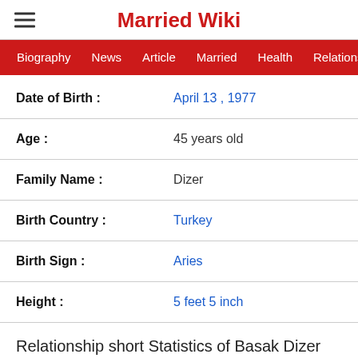Married Wiki
Biography  News  Article  Married  Health  Relationship  Ga
| Field | Value |
| --- | --- |
| Date of Birth : | April 13 , 1977 |
| Age : | 45 years old |
| Family Name : | Dizer |
| Birth Country : | Turkey |
| Birth Sign : | Aries |
| Height : | 5 feet 5 inch |
Relationship short Statistics of Basak Dizer